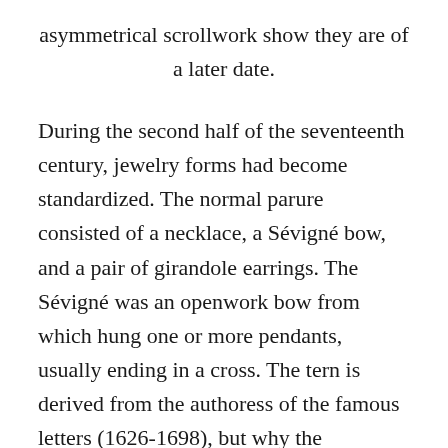asymmetrical scrollwork show they are of a later date.
During the second half of the seventeenth century, jewelry forms had become standardized. The normal parure consisted of a necklace, a Sévigné bow, and a pair of girandole earrings. The Sévigné was an openwork bow from which hung one or more pendants, usually ending in a cross. The tern is derived from the authoress of the famous letters (1626-1698), but why the Marquise's name was taken for this particular form is not clear; it does not appear in eighteenth-century pattern books. The girandole